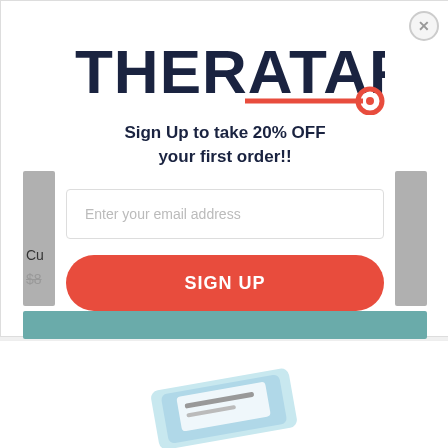[Figure (logo): THERATAPE logo in dark navy bold text with a red tape roll graphic and red underline]
Sign Up to take 20% OFF your first order!!
Enter your email address
SIGN UP
[Figure (photo): Partial view of a product (tape or bandage product) visible at the bottom of the page]